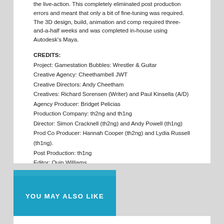the live-action. This completely eliminated post production errors and meant that only a bit of fine-tuning was required. The 3D design, build, animation and comp required three-and-a-half weeks and was completed in-house using Autodesk's Maya.
CREDITS:
Project: Gamestation Bubbles: Wrestler & Guitar
Creative Agency: Cheethambell JWT
Creative Directors: Andy Cheetham
Creatives: Richard Sorensen (Writer) and Paul Kinsella (A/D)
Agency Producer: Bridget Pelicias
Production Company: th2ng and th1ng
Director: Simon Cracknell (th2ng) and Andy Powell (th1ng)
Prod Co Producer: Hannah Cooper (th2ng) and Lydia Russell (th1ng).
Post Production: th1ng
Editor: Quin Williams
Exposure: National TV
YOU MAY ALSO LIKE